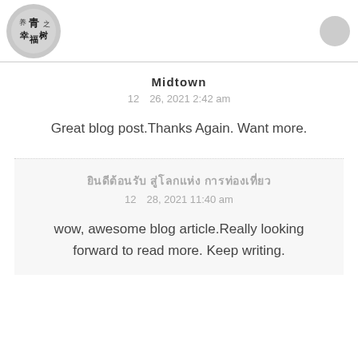[Figure (logo): Circular logo with Chinese calligraphy characters in black ink on grey background]
Midtown
12 26, 2021 2:42 am
Great blog post.Thanks Again. Want more.
ยินดีต้อนรับ สู่โลกแห่ง การท่องเที่ยว
12 28, 2021 11:40 am
wow, awesome blog article.Really looking forward to read more. Keep writing.